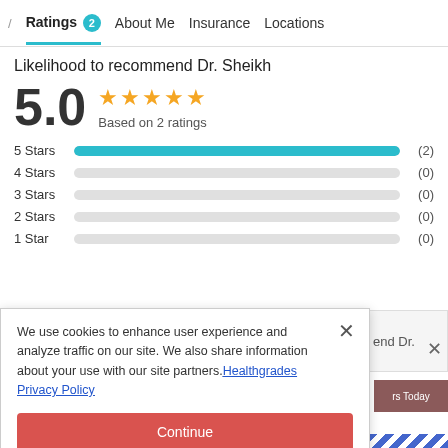/ Ratings 2 About Me Insurance Locations
Likelihood to recommend Dr. Sheikh
5.0 ★★★★★ Based on 2 ratings
[Figure (bar-chart): Star rating distribution]
We use cookies to enhance user experience and analyze traffic on our site. We also share information about your use with our site partners. Healthgrades Privacy Policy
Continue
Access my Privacy Preferences